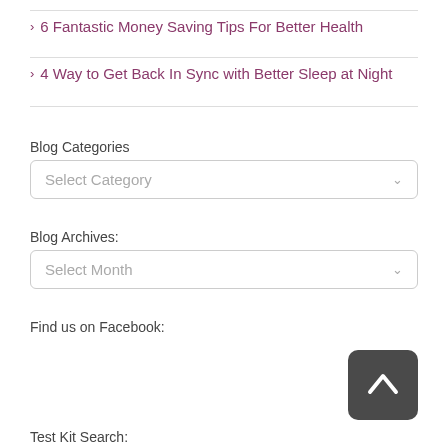> 6 Fantastic Money Saving Tips For Better Health
> 4 Way to Get Back In Sync with Better Sleep at Night
Blog Categories
[Figure (screenshot): Dropdown select box with placeholder text 'Select Category' and a chevron arrow]
Blog Archives:
[Figure (screenshot): Dropdown select box with placeholder text 'Select Month' and a chevron arrow]
Find us on Facebook:
[Figure (other): Dark rounded square button with upward-pointing chevron/caret arrow icon]
Test Kit Search: